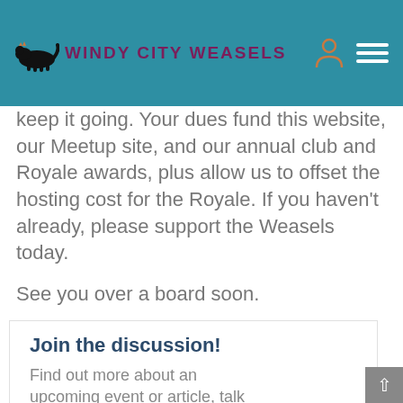WINDY CITY WEASELS
keep it going. Your dues fund this website, our Meetup site, and our annual club and Royale awards, plus allow us to offset the hosting cost for the Royale. If you haven't already, please support the Weasels today.

See you over a board soon.
Join the discussion!
Find out more about an upcoming event or article, talk